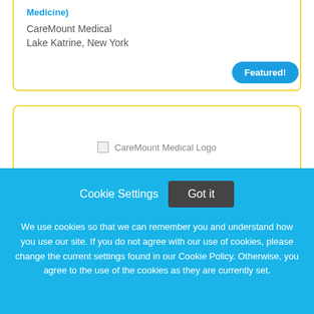Medicine)
CareMount Medical
Lake Katrine, New York
Featured!
[Figure (logo): CareMount Medical Logo placeholder image]
Physician - Primary Care (Internal Medicine/Family
Cookie Settings
Got it
We use cookies so that we can remember you and understand how you use our site. If you do not agree with our use of cookies, please change the current settings found in our Cookie Policy. Otherwise, you agree to the use of the cookies as they are currently set.